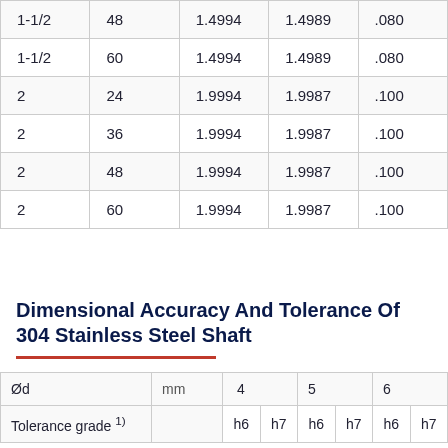|  |  |  |  |  |
| --- | --- | --- | --- | --- |
| 1-1/2 | 48 | 1.4994 | 1.4989 | .080 |
| 1-1/2 | 60 | 1.4994 | 1.4989 | .080 |
| 2 | 24 | 1.9994 | 1.9987 | .100 |
| 2 | 36 | 1.9994 | 1.9987 | .100 |
| 2 | 48 | 1.9994 | 1.9987 | .100 |
| 2 | 60 | 1.9994 | 1.9987 | .100 |
Dimensional Accuracy And Tolerance Of 304 Stainless Steel Shaft
| Ød | mm | 4 |  | 5 |  | 6 |  |
| --- | --- | --- | --- | --- | --- | --- | --- |
| Tolerance grade 1) |  | h6 | h7 | h6 | h7 | h6 | h7 |